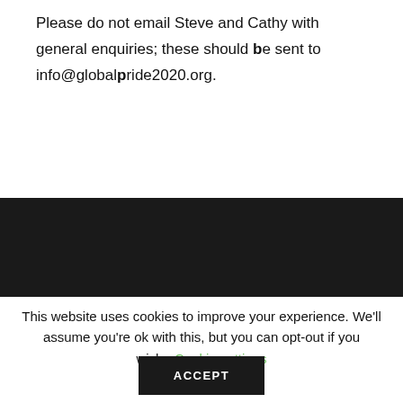Please do not email Steve and Cathy with general enquiries; these should be sent to info@globalpride2020.org.
This website uses cookies to improve your experience. We'll assume you're ok with this, but you can opt-out if you wish. Cookie settings
ACCEPT